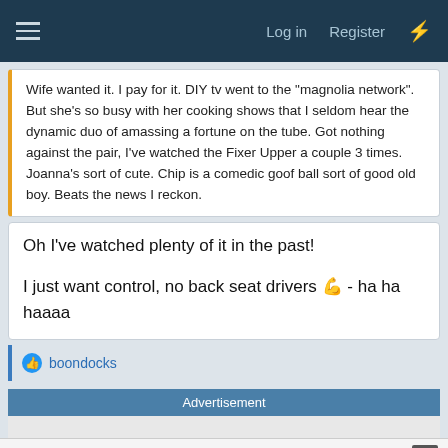Log in  Register
Wife wanted it. I pay for it. DIY tv went to the "magnolia network". But she's so busy with her cooking shows that I seldom hear the dynamic duo of amassing a fortune on the tube. Got nothing against the pair, I've watched the Fixer Upper a couple 3 times. Joanna's sort of cute. Chip is a comedic goof ball sort of good old boy. Beats the news I reckon.
Oh I've watched plenty of it in the past!

I just want control, no back seat drivers 💪 - ha ha haaaa
boondocks
Advertisement
Report Ad
✓ In-store shopping